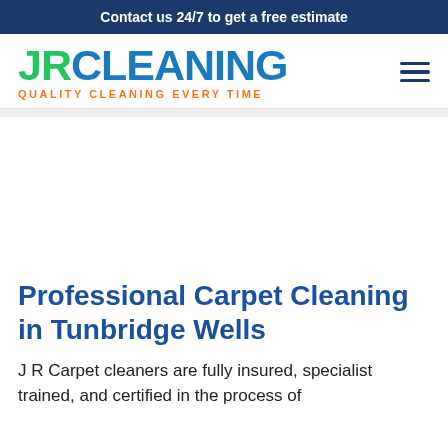Contact us 24/7 to get a free estimate
[Figure (logo): JR Cleaning logo with tagline 'QUALITY CLEANING EVERY TIME']
Professional Carpet Cleaning in Tunbridge Wells
J R Carpet cleaners are fully insured, specialist trained, and certified in the process of